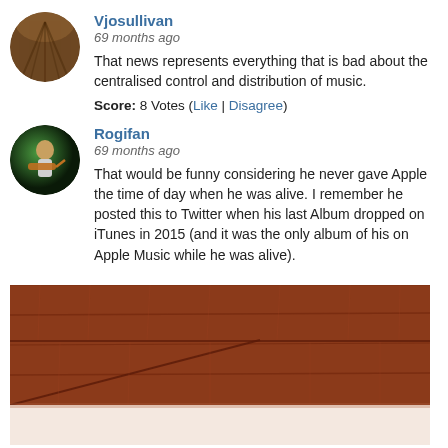Vjosullivan
69 months ago
That news represents everything that is bad about the centralised control and distribution of music.
Score: 8 Votes (Like | Disagree)
Rogifan
69 months ago
That would be funny considering he never gave Apple the time of day when he was alive. I remember he posted this to Twitter when his last Album dropped on iTunes in 2015 (and it was the only album of his on Apple Music while he was alive).
[Figure (photo): Embedded image showing a wooden floor surface with reddish-brown planks, partially reflected, with a blurred lighter section at the bottom.]